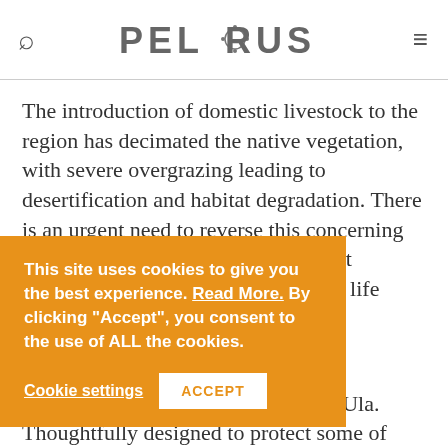PELORUS
The introduction of domestic livestock to the region has decimated the native vegetation, with severe overgrazing leading to desertification and habitat degradation. There is an urgent need to reverse this concerning decline, and restore this fragile desert ecosystem, so it can support thriving life once again.
raan Nature
This site uses cookies to give you the best experience. Read More. By clicking "Accept", you consent to the use of ALL the cookies.
Cookie settings   ACCEPT
ve is to restore, osystem native to AlUla. Thoughtfully designed to protect some of